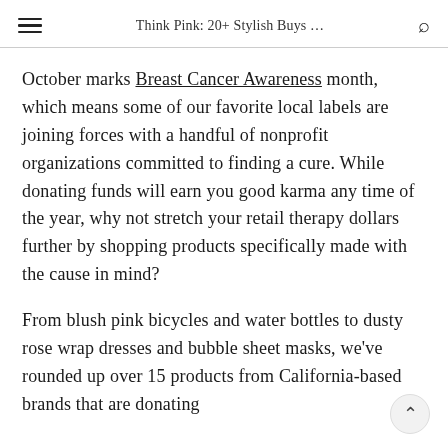Think Pink: 20+ Stylish Buys ...
October marks Breast Cancer Awareness month, which means some of our favorite local labels are joining forces with a handful of nonprofit organizations committed to finding a cure. While donating funds will earn you good karma any time of the year, why not stretch your retail therapy dollars further by shopping products specifically made with the cause in mind?
From blush pink bicycles and water bottles to dusty rose wrap dresses and bubble sheet masks, we've rounded up over 15 products from California-based brands that are donating